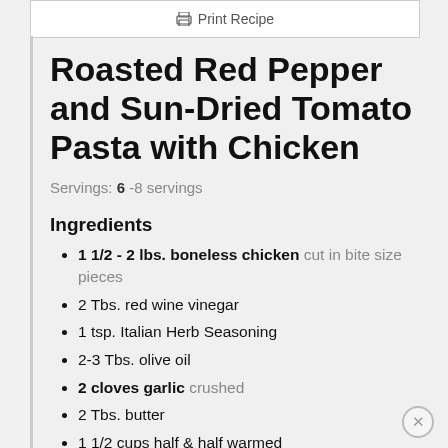Print Recipe
Roasted Red Pepper and Sun-Dried Tomato Pasta with Chicken
Servings: 6 -8 servings
Ingredients
1 1/2 - 2 lbs. boneless chicken cut in bite size pieces
2 Tbs. red wine vinegar
1 tsp. Italian Herb Seasoning
2-3 Tbs. olive oil
2 cloves garlic crushed
2 Tbs. butter
1 1/2 cups half & half warmed
1 cup shredded Italian blend cheese